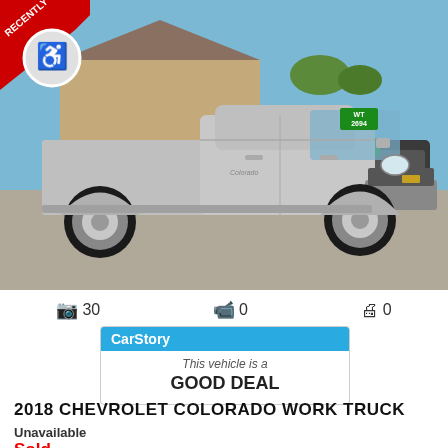[Figure (photo): Silver 2018 Chevrolet Colorado Work Truck pickup truck parked at a car dealership lot. The truck is silver, extended cab. A 'RECENTLY' badge with handicap symbol is visible in the top-left corner of the photo. Green price signs visible on windshields of other vehicles in the background.]
📷 30   🎥 0   🗗 0
[Figure (infographic): CarStory badge: blue header with 'CarStory', body text: 'This vehicle is a GOOD DEAL']
2018 CHEVROLET COLORADO WORK TRUCK
Unavailable
Sold